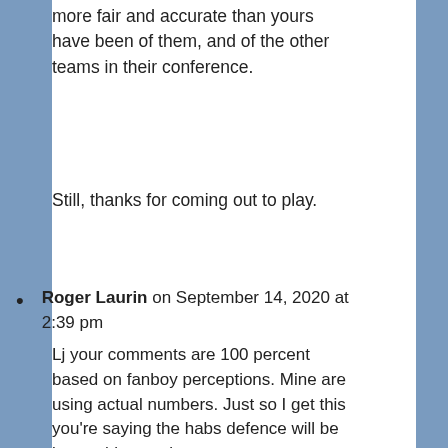more fair and accurate than yours have been of them, and of the other teams in their conference.
Still, thanks for coming out to play.
Roger Laurin on September 14, 2020 at 2:39 pm
Lj your comments are 100 percent based on fanboy perceptions. Mine are using actual numbers. Just so I get this you're saying the habs defence will be better this year because